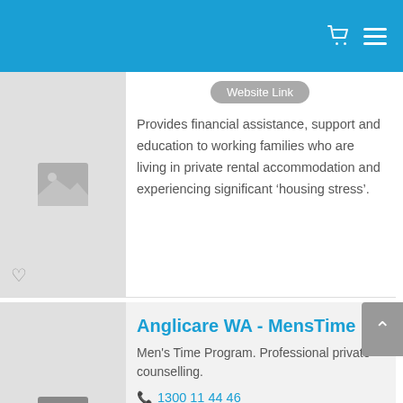Provides financial assistance, support and education to working families who are living in private rental accommodation and experiencing significant ‘housing stress’.
Anglicare WA - MensTime
Men's Time Program. Professional private counselling.
1300 11 44 46
Website Link